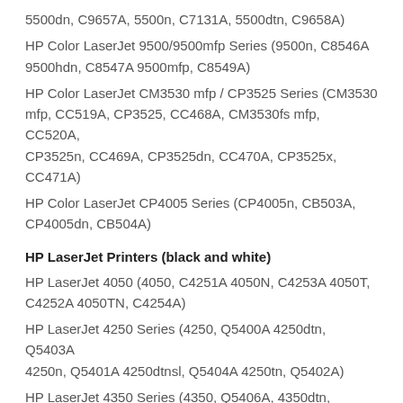5500dn, C9657A, 5500n, C7131A, 5500dtn, C9658A)
HP Color LaserJet 9500/9500mfp Series (9500n, C8546A 9500hdn, C8547A 9500mfp, C8549A)
HP Color LaserJet CM3530 mfp / CP3525 Series (CM3530 mfp, CC519A, CP3525, CC468A, CM3530fs mfp, CC520A, CP3525n, CC469A, CP3525dn, CC470A, CP3525x, CC471A)
HP Color LaserJet CP4005 Series (CP4005n, CB503A, CP4005dn, CB504A)
HP LaserJet Printers (black and white)
HP LaserJet 4050 (4050, C4251A 4050N, C4253A 4050T, C4252A 4050TN, C4254A)
HP LaserJet 4250 Series (4250, Q5400A 4250dtn, Q5403A 4250n, Q5401A 4250dtnsl, Q5404A 4250tn, Q5402A)
HP LaserJet 4350 Series (4350, Q5406A, 4350dtn, Q5409A, 4350n, Q5407A, 4350dtnsl, Q5410A, 4350tn, Q5408A)
HP LaserJet 5000 (5000, C4110A 5000N, C4111A 5000DN, C8068A 5000GN, C4112A)